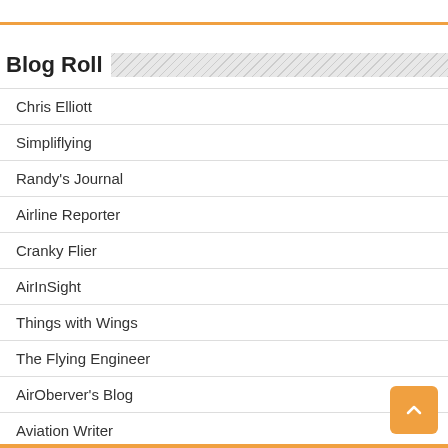Blog Roll
Chris Elliott
Simpliflying
Randy's Journal
Airline Reporter
Cranky Flier
AirInSight
Things with Wings
The Flying Engineer
AirOberver's Blog
Aviation Writer
Oussam's Take